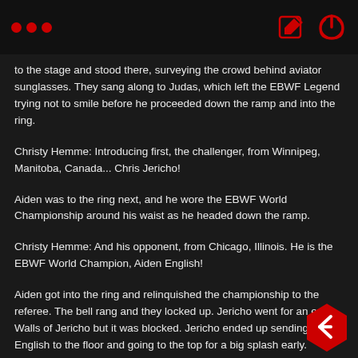... [edit icon] [power icon]
to the stage and stood there, surveying the crowd behind aviator sunglasses. They sang along to Judas, which left the EBWF Legend trying not to smile before he proceeded down the ramp and into the ring.
Christy Hemme: Introducing first, the challenger, from Winnipeg, Manitoba, Canada... Chris Jericho!
Aiden was to the ring next, and he wore the EBWF World Championship around his waist as he headed down the ramp.
Christy Hemme: And his opponent, from Chicago, Illinois. He is the EBWF World Champion, Aiden English!
Aiden got into the ring and relinquished the championship to the referee. The bell rang and they locked up. Jericho went for an early Walls of Jericho but it was blocked. Jericho ended up sending English to the floor and going to the top for a big splash early.
Mauro Ranallo: Risky offense from Jericho!
Jericho sent English into the steel steps and worked him back into the ring. Jericho kept control as dueling chants broke out. English managed to create some space and turned it around. English mounted Jericho and